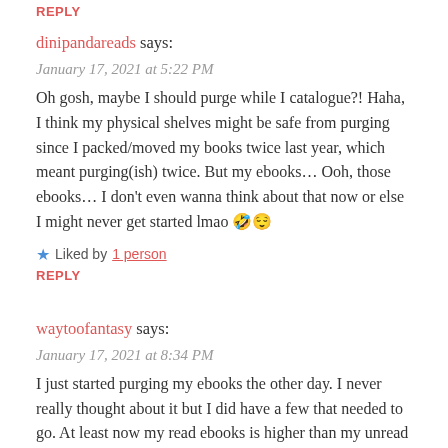REPLY
dinipandareads says:
January 17, 2021 at 5:22 PM
Oh gosh, maybe I should purge while I catalogue?! Haha, I think my physical shelves might be safe from purging since I packed/moved my books twice last year, which meant purging(ish) twice. But my ebooks… Ooh, those ebooks… I don't even wanna think about that now or else I might never get started lmao 🤣😌
★ Liked by 1 person
REPLY
waytoofantasy says:
January 17, 2021 at 8:34 PM
I just started purging my ebooks the other day. I never really thought about it but I did have a few that needed to go. At least now my read ebooks is higher than my unread ebooks so I feel good about that LOL
★ Like